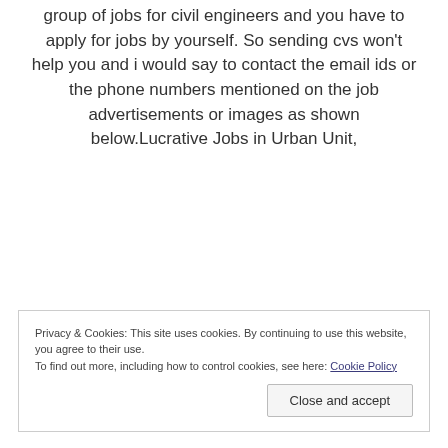group of jobs for civil engineers and you have to apply for jobs by yourself. So sending cvs won't help you and i would say to contact the email ids or the phone numbers mentioned on the job advertisements or images as shown below.Lucrative Jobs in Urban Unit,
Privacy & Cookies: This site uses cookies. By continuing to use this website, you agree to their use.
To find out more, including how to control cookies, see here: Cookie Policy